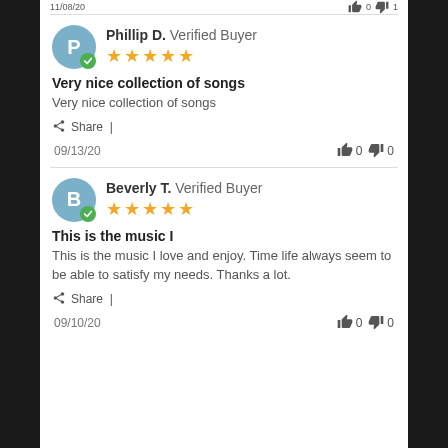11/08/20  👍 0  👎 1
Phillip D. Verified Buyer ★★★★★
Very nice collection of songs
Very nice collection of songs
Share |
09/13/20  👍 0  👎 0
Beverly T. Verified Buyer ★★★★★
This is the music I
This is the music I love and enjoy. Time life always seem to be able to satisfy my needs. Thanks a lot.
Share |
09/10/20  👍 0  👎 0